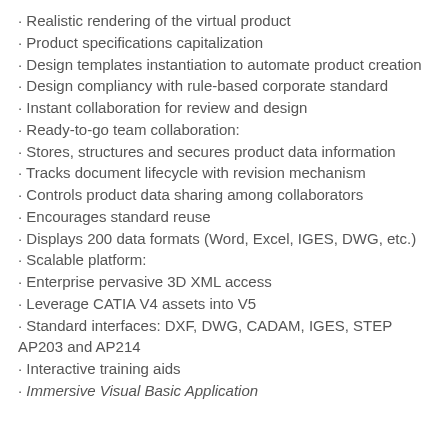Realistic rendering of the virtual product
Product specifications capitalization
Design templates instantiation to automate product creation
Design compliancy with rule-based corporate standard
Instant collaboration for review and design
Ready-to-go team collaboration:
Stores, structures and secures product data information
Tracks document lifecycle with revision mechanism
Controls product data sharing among collaborators
Encourages standard reuse
Displays 200 data formats (Word, Excel, IGES, DWG, etc.)
Scalable platform:
Enterprise pervasive 3D XML access
Leverage CATIA V4 assets into V5
Standard interfaces: DXF, DWG, CADAM, IGES, STEP AP203 and AP214
Interactive training aids
Immersive Visual Basic Application